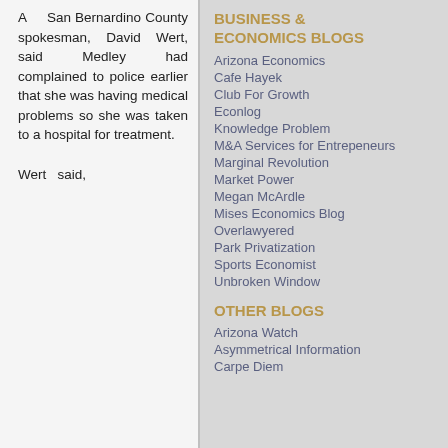A San Bernardino County spokesman, David Wert, said Medley had complained to police earlier that she was having medical problems so she was taken to a hospital for treatment.

Wert said,
BUSINESS & ECONOMICS BLOGS
Arizona Economics
Cafe Hayek
Club For Growth
Econlog
Knowledge Problem
M&A Services for Entrepeneurs
Marginal Revolution
Market Power
Megan McArdle
Mises Economics Blog
Overlawyered
Park Privatization
Sports Economist
Unbroken Window
OTHER BLOGS
Arizona Watch
Asymmetrical Information
Carpe Diem